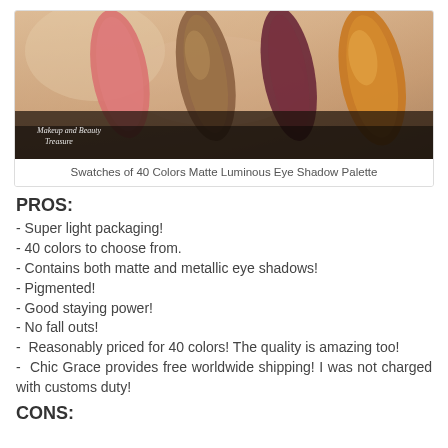[Figure (photo): Close-up photo of cosmetic eyeshadow swatches on skin — pink/rose matte, brown/bronze metallic, dark burgundy matte, and orange/gold metallic swatches on a light skin background. Watermark reads 'Makeup and Beauty Treasure'.]
Swatches of 40 Colors Matte Luminous Eye Shadow Palette
PROS:
- Super light packaging!
- 40 colors to choose from.
- Contains both matte and metallic eye shadows!
- Pigmented!
- Good staying power!
- No fall outs!
- Reasonably priced for 40 colors! The quality is amazing too!
- Chic Grace provides free worldwide shipping! I was not charged with customs duty!
CONS: